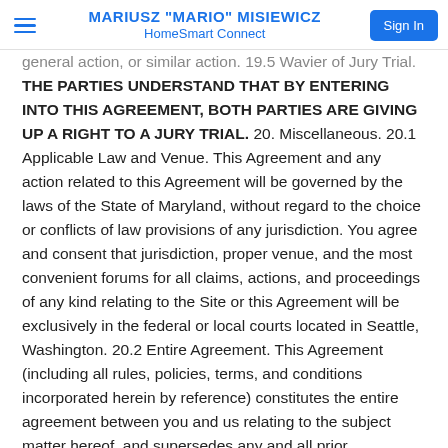MARIUSZ "MARIO" MISIEWICZ | HomeSmart Connect | Sign In
general action, or similar action. 19.5 Wavier of Jury Trial. THE PARTIES UNDERSTAND THAT BY ENTERING INTO THIS AGREEMENT, BOTH PARTIES ARE GIVING UP A RIGHT TO A JURY TRIAL. 20. Miscellaneous. 20.1 Applicable Law and Venue. This Agreement and any action related to this Agreement will be governed by the laws of the State of Maryland, without regard to the choice or conflicts of law provisions of any jurisdiction. You agree and consent that jurisdiction, proper venue, and the most convenient forums for all claims, actions, and proceedings of any kind relating to the Site or this Agreement will be exclusively in the federal or local courts located in Seattle, Washington. 20.2 Entire Agreement. This Agreement (including all rules, policies, terms, and conditions incorporated herein by reference) constitutes the entire agreement between you and us relating to the subject matter hereof, and supersedes any and all prior agreements, negotiations, or other communications between you and us, whether oral or